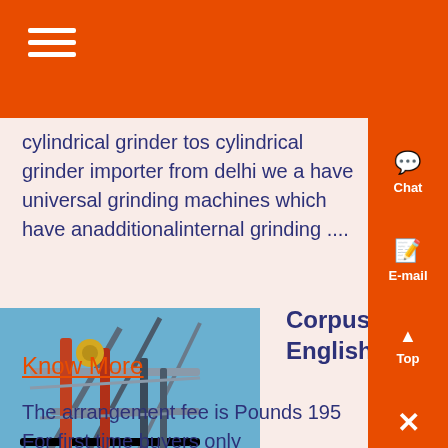cylindrical grinder tos cylindrical grinder importer from delhi we a have universal grinding machines which have anadditionalinternal grinding ....
[Figure (photo): Industrial machinery or scaffolding with pipes and steel structure against a blue sky]
Corpus of articles from the English newspaper The ,
Know More
The arrangement fee is Pounds 195 For first time buyers only